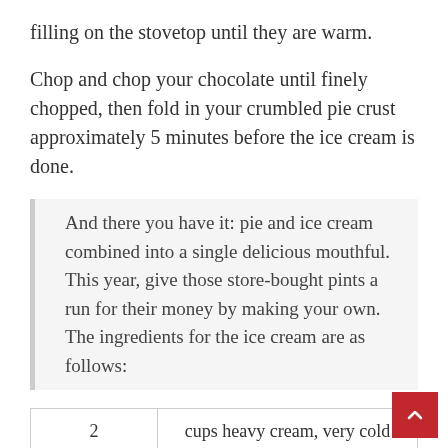filling on the stovetop until they are warm.
Chop and chop your chocolate until finely chopped, then fold in your crumbled pie crust approximately 5 minutes before the ice cream is done.
And there you have it: pie and ice cream combined into a single delicious mouthful. This year, give those store-bought pints a run for their money by making your own. The ingredients for the ice cream are as follows:
| 2 | cups heavy cream, very cold |
| 1 | cup whole milk, very cold |